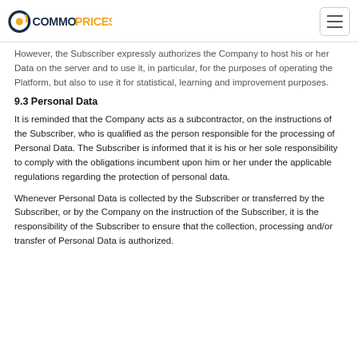COMMOPRICES
However, the Subscriber expressly authorizes the Company to host his or her Data on the server and to use it, in particular, for the purposes of operating the Platform, but also to use it for statistical, learning and improvement purposes.
9.3 Personal Data
It is reminded that the Company acts as a subcontractor, on the instructions of the Subscriber, who is qualified as the person responsible for the processing of Personal Data. The Subscriber is informed that it is his or her sole responsibility to comply with the obligations incumbent upon him or her under the applicable regulations regarding the protection of personal data.
Whenever Personal Data is collected by the Subscriber or transferred by the Subscriber, or by the Company on the instruction of the Subscriber, it is the responsibility of the Subscriber to ensure that the collection, processing and/or transfer of Personal Data is authorized.